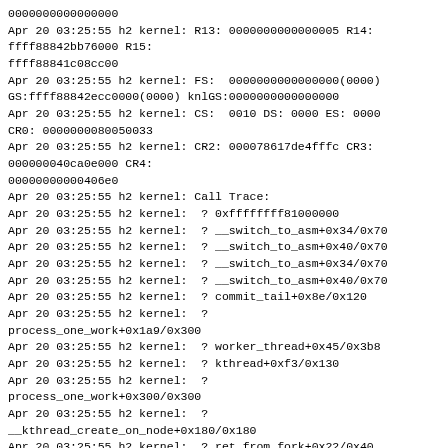0000000000000000
Apr 20 03:25:55 h2 kernel: R13: 0000000000000005 R14: fff88842bb76000 R15:
ffff88841c08cc00
Apr 20 03:25:55 h2 kernel: FS:  0000000000000000(0000) GS:ffff88842ecc0000(0000) knlGS:0000000000000000
Apr 20 03:25:55 h2 kernel: CS:  0010 DS: 0000 ES: 0000 CR0: 0000000080050033
Apr 20 03:25:55 h2 kernel: CR2: 000078617de4fffc CR3: 000000040ca0e000 CR4:
00000000000406e0
Apr 20 03:25:55 h2 kernel: Call Trace:
Apr 20 03:25:55 h2 kernel:  ? 0xffffffff81000000
Apr 20 03:25:55 h2 kernel:  ? __switch_to_asm+0x34/0x70
Apr 20 03:25:55 h2 kernel:  ? __switch_to_asm+0x40/0x70
Apr 20 03:25:55 h2 kernel:  ? __switch_to_asm+0x34/0x70
Apr 20 03:25:55 h2 kernel:  ? __switch_to_asm+0x40/0x70
Apr 20 03:25:55 h2 kernel:  ? commit_tail+0x8e/0x120
Apr 20 03:25:55 h2 kernel:  ?
process_one_work+0x1a9/0x300
Apr 20 03:25:55 h2 kernel:  ? worker_thread+0x45/0x3b8
Apr 20 03:25:55 h2 kernel:  ? kthread+0xf3/0x130
Apr 20 03:25:55 h2 kernel:  ?
process_one_work+0x300/0x300
Apr 20 03:25:55 h2 kernel:  ?
__kthread_create_on_node+0x180/0x180
Apr 20 03:25:55 h2 kernel:  ? ret_from_fork+0x22/0x40
Apr 20 03:25:55 h2 kernel: ---[ end trace
33869116def8e8ad ]---
Apr 20 03:25:55 h2 kernel: RTP: